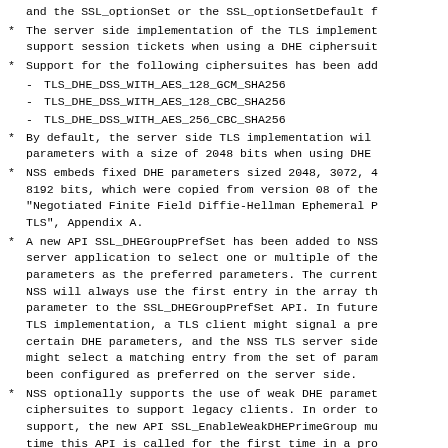and the SSL_optionSet or the SSL_optionSetDefault f
The server side implementation of the TLS implement support session tickets when using a DHE ciphersuit
Support for the following ciphersuites has been add
- TLS_DHE_DSS_WITH_AES_128_GCM_SHA256
- TLS_DHE_DSS_WITH_AES_128_CBC_SHA256
- TLS_DHE_DSS_WITH_AES_256_CBC_SHA256
By default, the server side TLS implementation wil parameters with a size of 2048 bits when using DHE
NSS embeds fixed DHE parameters sized 2048, 3072, 4 8192 bits, which were copied from version 08 of the "Negotiated Finite Field Diffie-Hellman Ephemeral P TLS", Appendix A.
A new API SSL_DHEGroupPrefSet has been added to NSS server application to select one or multiple of the parameters as the preferred parameters. The current NSS will always use the first entry in the array th parameter to the SSL_DHEGroupPrefSet API. In future TLS implementation, a TLS client might signal a pre certain DHE parameters, and the NSS TLS server side might select a matching entry from the set of param been configured as preferred on the server side.
NSS optionally supports the use of weak DHE paramet ciphersuites to support legacy clients. In order to support, the new API SSL_EnableWeakDHEPrimeGroup mu time this API is called for the first time in a pro of weak DHE parameters will be randomly created, wh long amount of time. Please refer to the comments i that declares the SSL_EnableWeakDHEPrimeGroup API f details.
The size of the default DCC parameters used by cert